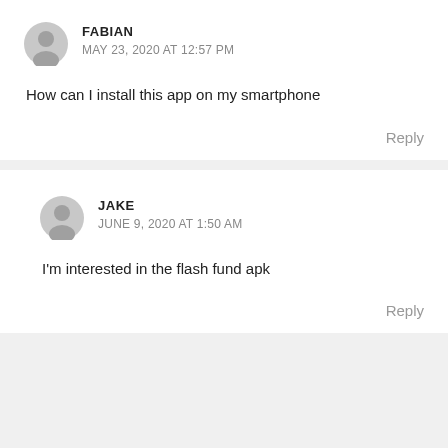FABIAN
MAY 23, 2020 AT 12:57 PM
How can I install this app on my smartphone
Reply
JAKE
JUNE 9, 2020 AT 1:50 AM
I'm interested in the flash fund apk
Reply